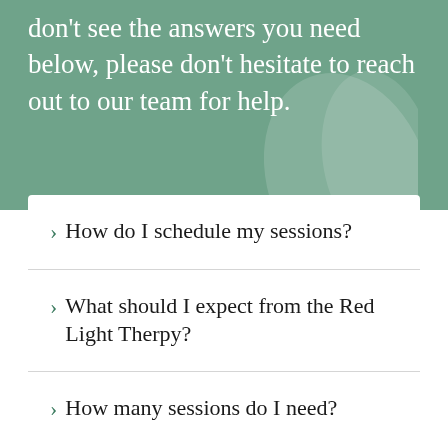don't see the answers you need below, please don't hesitate to reach out to our team for help.
How do I schedule my sessions?
What should I expect from the Red Light Therpy?
How many sessions do I need?